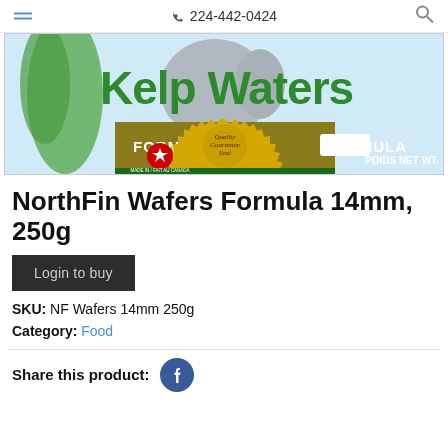224-442-0424
[Figure (photo): NorthFin Kelp Wafers product label showing 'Kelp Waters' in green text, a golden banner with 'FORMULE' and 'FORMULA', a quality guarantee seal in the center, a Canadian maple leaf logo with 'MADE IN / FAIT AU CANADA', and 'POIDS NET WT.' text on a green background.]
NorthFin Wafers Formula 14mm, 250g
Login to buy
SKU: NF Wafers 14mm 250g
Category: Food
Share this product: